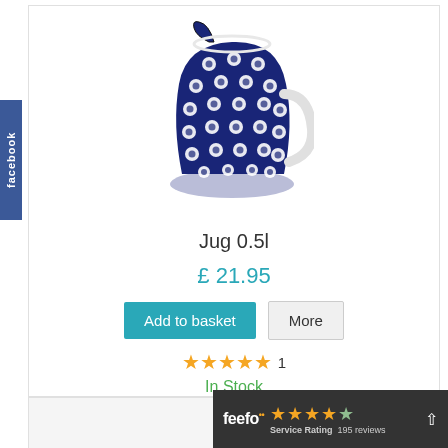[Figure (photo): Blue and white polka dot ceramic jug 0.5l with handle]
Jug 0.5l
£ 21.95
Add to basket | More
★★★★★ 1
In Stock
[Figure (logo): Feefo Service Rating badge showing 4 stars and 195 reviews]